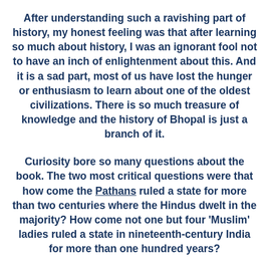After understanding such a ravishing part of history, my honest feeling was that after learning so much about history, I was an ignorant fool not to have an inch of enlightenment about this. And it is a sad part, most of us have lost the hunger or enthusiasm to learn about one of the oldest civilizations. There is so much treasure of knowledge and the history of Bhopal is just a branch of it.
Curiosity bore so many questions about the book. The two most critical questions were that how come the Pathans ruled a state for more than two centuries where the Hindus dwelt in the majority? How come not one but four 'Muslim' ladies ruled a state in nineteenth-century India for more than one hundred years?
A brief introduction, nine chapters, an epilogue, and some drawings, appendixes, and some assessments of this book enrich you with the most precious detailing about the state's